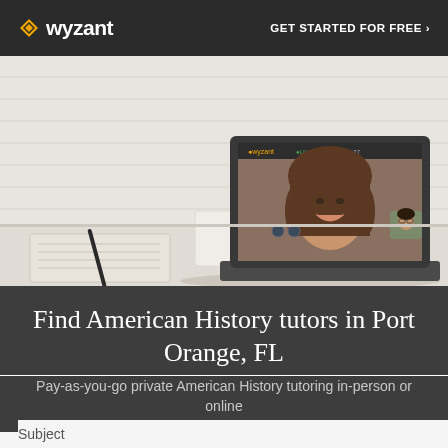wyzant  GET STARTED FOR FREE ›
[Figure (photo): A laptop on a desk showing a video tutoring session with two people, a white mug and notebook with pen beside the laptop, brick wall background]
Find American History tutors in Port Orange, FL
Pay-as-you-go private American History tutoring in-person or online
Subject